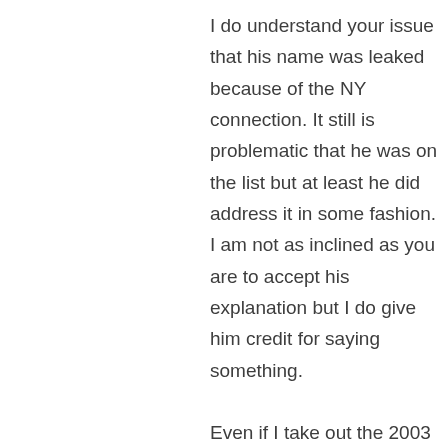I do understand your issue that his name was leaked because of the NY connection. It still is problematic that he was on the list but at least he did address it in some fashion. I am not as inclined as you are to accept his explanation but I do give him credit for saying something.

Even if I take out the 2003